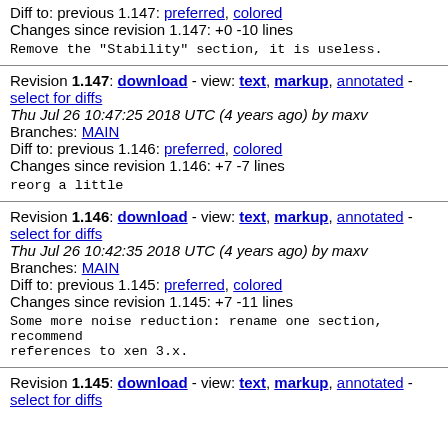Diff to: previous 1.147: preferred, colored
Changes since revision 1.147: +0 -10 lines
Remove the "Stability" section, it is useless.
Revision 1.147: download - view: text, markup, annotated - select for diffs
Thu Jul 26 10:47:25 2018 UTC (4 years ago) by maxv
Branches: MAIN
Diff to: previous 1.146: preferred, colored
Changes since revision 1.146: +7 -7 lines
reorg a little
Revision 1.146: download - view: text, markup, annotated - select for diffs
Thu Jul 26 10:42:35 2018 UTC (4 years ago) by maxv
Branches: MAIN
Diff to: previous 1.145: preferred, colored
Changes since revision 1.145: +7 -11 lines
Some more noise reduction: rename one section, recommend references to xen 3.x.
Revision 1.145: download - view: text, markup, annotated - select for diffs